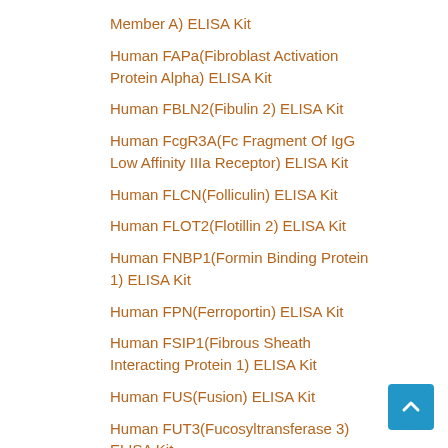Member A) ELISA Kit
Human FAPa(Fibroblast Activation Protein Alpha) ELISA Kit
Human FBLN2(Fibulin 2) ELISA Kit
Human FcgR3A(Fc Fragment Of IgG Low Affinity IIIa Receptor) ELISA Kit
Human FLCN(Folliculin) ELISA Kit
Human FLOT2(Flotillin 2) ELISA Kit
Human FNBP1(Formin Binding Protein 1) ELISA Kit
Human FPN(Ferroportin) ELISA Kit
Human FSIP1(Fibrous Sheath Interacting Protein 1) ELISA Kit
Human FUS(Fusion) ELISA Kit
Human FUT3(Fucosyltransferase 3) ELISA Kit